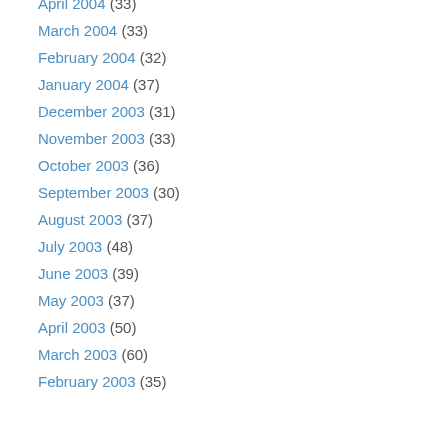April 2004 (33)
March 2004 (33)
February 2004 (32)
January 2004 (37)
December 2003 (31)
November 2003 (33)
October 2003 (36)
September 2003 (30)
August 2003 (37)
July 2003 (48)
June 2003 (39)
May 2003 (37)
April 2003 (50)
March 2003 (60)
February 2003 (35)